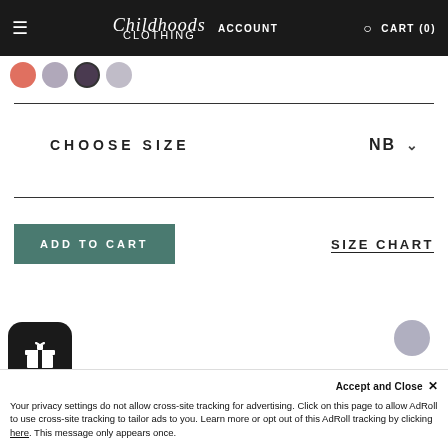≡  Childhoods Clothing  ACCOUNT  🔍  CART (0)
[Figure (illustration): Four circular color swatches: coral/red, lavender, dark purple, silver-grey]
CHOOSE SIZE    NB ˅
ADD TO CART
SIZE CHART
[Figure (illustration): Partial grey circular element visible at bottom right of page]
[Figure (illustration): Black rounded square loyalty/gift widget icon with gift box symbol]
Accept and Close ✕
Your privacy settings do not allow cross-site tracking for advertising. Click on this page to allow AdRoll to use cross-site tracking to tailor ads to you. Learn more or opt out of this AdRoll tracking by clicking here. This message only appears once.